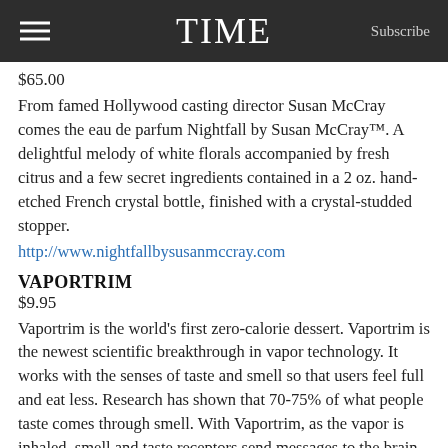TIME | Subscribe
$65.00
From famed Hollywood casting director Susan McCray comes the eau de parfum Nightfall by Susan McCray™. A delightful melody of white florals accompanied by fresh citrus and a few secret ingredients contained in a 2 oz. hand-etched French crystal bottle, finished with a crystal-studded stopper.
http://www.nightfallbysusanmccray.com
VAPORTRIM
$9.95
Vaportrim is the world's first zero-calorie dessert. Vaportrim is the newest scientific breakthrough in vapor technology. It works with the senses of taste and smell so that users feel full and eat less. Research has shown that 70-75% of what people taste comes through smell. With Vaportrim, as the vapor is inhaled, smell and taste receptors send messages to the brain which release hormones